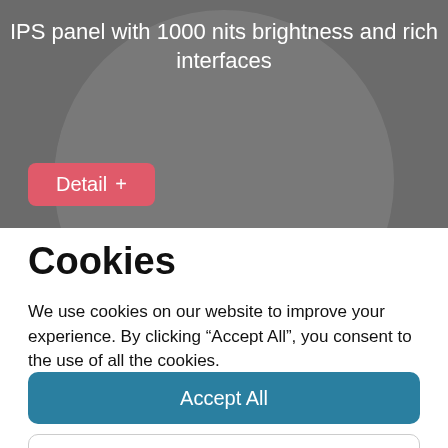[Figure (screenshot): Dark gray background with a large circular gradient element, showing a product image area with text 'IPS panel with 1000 nits brightness and rich interfaces' in white at top, and a coral/pink 'Detail +' button at bottom left.]
Cookies
We use cookies on our website to improve your experience. By clicking “Accept All”, you consent to the use of all the cookies.
Accept All
Learn More